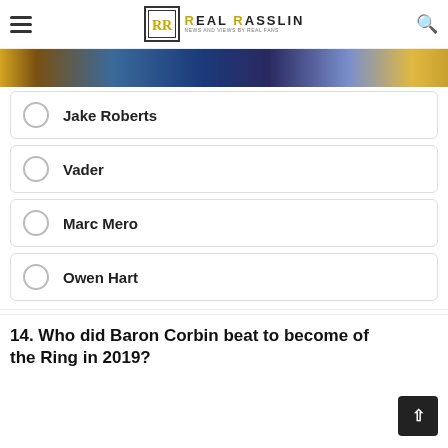Real Rasslin - News and Views by Real Fans
[Figure (photo): Cropped photo strip of wrestlers]
Jake Roberts
Vader
Marc Mero
Owen Hart
14. Who did Baron Corbin beat to become of the Ring in 2019?